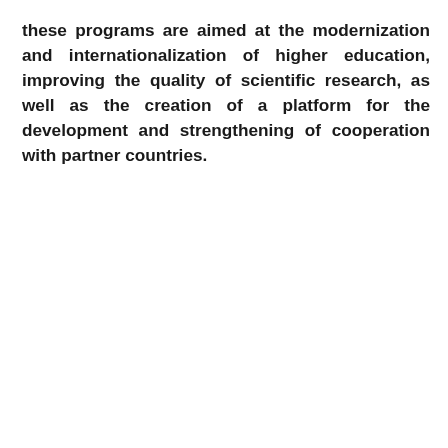these programs are aimed at the modernization and internationalization of higher education, improving the quality of scientific research, as well as the creation of a platform for the development and strengthening of cooperation with partner countries.